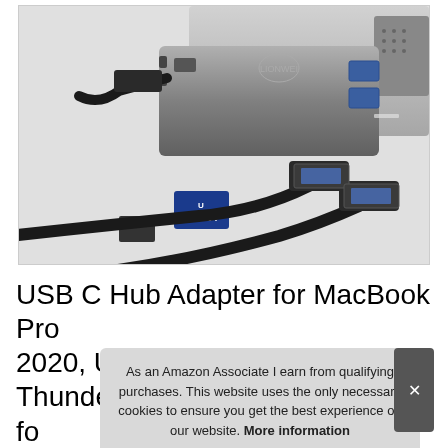[Figure (photo): Photo of a USB-C hub adapter connected to a MacBook Pro, showing multiple ports including USB-A, USB-C, SD card slot, and microSD card slot, with cables attached. The hub is silver/gray aluminum matching MacBook styling.]
USB C Hub Adapter for MacBook Pro 2020, USB-C 100W and Thunderbolt 3 fo... M... HD... HDMI...
As an Amazon Associate I earn from qualifying purchases. This website uses the only necessary cookies to ensure you get the best experience on our website. More information